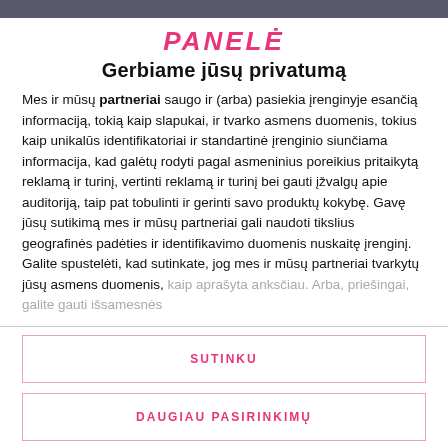PANELĖ
Gerbiame jūsų privatumą
Mes ir mūsų partneriai saugo ir (arba) pasiekia įrenginyje esančią informaciją, tokią kaip slapukai, ir tvarko asmens duomenis, tokius kaip unikalūs identifikatoriai ir standartinė įrenginio siunčiama informacija, kad galėtų rodyti pagal asmeninius poreikius pritaikytą reklamą ir turinį, vertinti reklamą ir turinį bei gauti įžvalgų apie auditoriją, taip pat tobulinti ir gerinti savo produktų kokybę. Gavę jūsų sutikimą mes ir mūsų partneriai gali naudoti tikslius geografinės padėties ir identifikavimo duomenis nuskaitę įrenginį. Galite spustelėti, kad sutinkate, jog mes ir mūsų partneriai tvarkytų jūsų asmens duomenis, kaip aprašyta anksčiau. Arba, priešingai, galite gauti išsamesnės
SUTINKU
DAUGIAU PASIRINKIMŲ